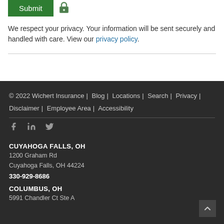Submit
We respect your privacy. Your information will be sent securely and handled with care. View our privacy policy.
© 2022 Wichert Insurance | Blog | Locations | Search | Privacy | Disclaimer | Employee Area | Accessibility
f  in  🐦 (social icons)
CUYAHOGA FALLS, OH
1200 Graham Rd
Cuyahoga Falls, OH 44224
330-929-8686
COLUMBUS, OH
5991 Chandler Ct Ste A